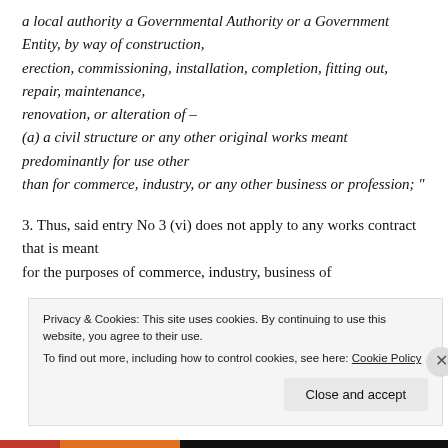a local authority a Governmental Authority or a Government Entity, by way of construction, erection, commissioning, installation, completion, fitting out, repair, maintenance, renovation, or alteration of – (a) a civil structure or any other original works meant predominantly for use other than for commerce, industry, or any other business or profession; "
3. Thus, said entry No 3 (vi) does not apply to any works contract that is meant for the purposes of commerce, industry, business of
Privacy & Cookies: This site uses cookies. By continuing to use this website, you agree to their use. To find out more, including how to control cookies, see here: Cookie Policy